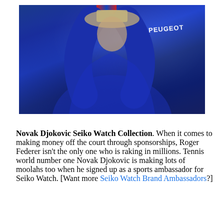[Figure (photo): Novak Djokovic in a blue Peugeot-sponsored jacket, lifting a trophy above his head, with red-and-blue sleeve striping visible]
Novak Djokovic Seiko Watch Collection. When it comes to making money off the court through sponsorships, Roger Federer isn't the only one who is raking in millions. Tennis world number one Novak Djokovic is making lots of moolahs too when he signed up as a sports ambassador for Seiko Watch. [Want more Seiko Watch Brand Ambassadors?]